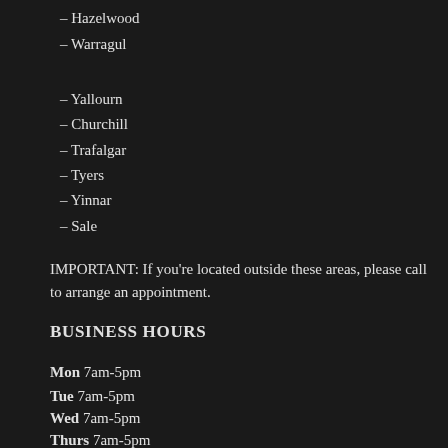– Hazelwood
– Warragul
– Yallourn
– Churchill
– Trafalgar
– Tyers
– Yinnar
– Sale
IMPORTANT: If you're located outside these areas, please call to arrange an appointment.
BUSINESS HOURS
Mon 7am-5pm
Tue 7am-5pm
Wed 7am-5pm
Thurs 7am-5pm